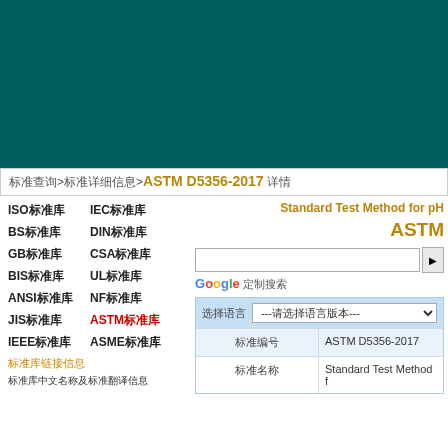[Figure (screenshot): Teal/dark green header banner area]
标准查询>标准详细信息>ASTM D5356-2017 详情
ISO标准库  IEC标准库
BS标准库  DIN标准库
GB标准库  CSA标准库
BIS标准库  UL标准库
ANSI标准库  NF标准库
JIS标准库  ASTM标准库
IEEE标准库  ASME标准库
标准库链接
标准库中文名称及标准翻译
Standard Test Method for pH
ASTM
Google 定制搜索
| 标准编号 | 详细信息 |
| --- | --- |
| 标准编号 | ASTM D5356-2017 |
| 标准名称 | Standard Test Method f |